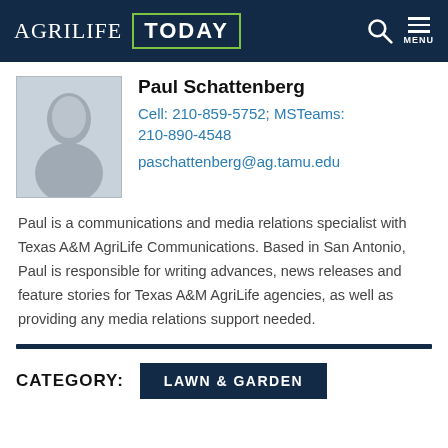AgriLife TODAY
Paul Schattenberg
Cell: 210-859-5752; MSTeams: 210-890-4548
paschattenberg@ag.tamu.edu
Paul is a communications and media relations specialist with Texas A&M AgriLife Communications. Based in San Antonio, Paul is responsible for writing advances, news releases and feature stories for Texas A&M AgriLife agencies, as well as providing any media relations support needed.
CATEGORY: LAWN & GARDEN